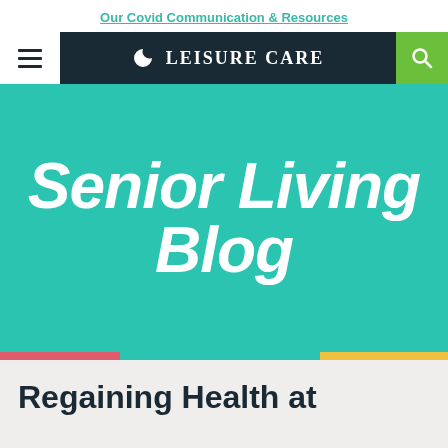Our Covid Communication & Resources
[Figure (logo): Leisure Care logo with crescent moon icon on dark navy navigation bar, with hamburger menu on left and green search button on right]
Senior Living Blog
Regaining Health at